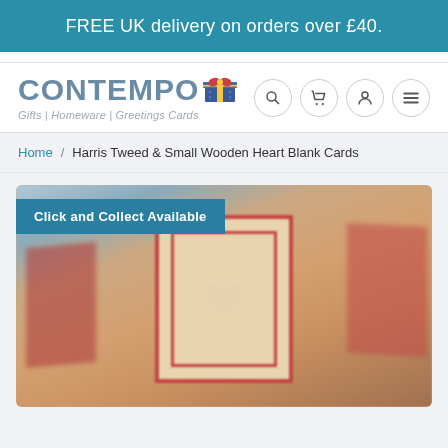FREE UK delivery on orders over £40.
[Figure (logo): Contempo logo with gift box icon and tagline: Gifts | Homeware | Greetings Cards]
Home / Harris Tweed & Small Wooden Heart Blank Cards
Click and Collect Available
[Figure (photo): Blurred close-up photo of Harris Tweed & Small Wooden Heart Blank Card product showing a beige card with red border and small wooden heart in center]